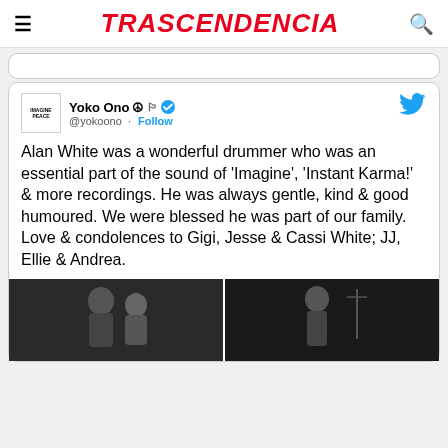TRASCENDENCIA
[Figure (screenshot): Twitter/X post by Yoko Ono (@yokoono) with verified badge and Follow button. Tweet text: 'Alan White was a wonderful drummer who was an essential part of the sound of 'Imagine', 'Instant Karma!' & more recordings. He was always gentle, kind & good humoured. We were blessed he was part of our family. Love & condolences to Gigi, Jesse & Cassi White; JJ, Ellie & Andrea.' Accompanied by two black and white photos at the bottom.]